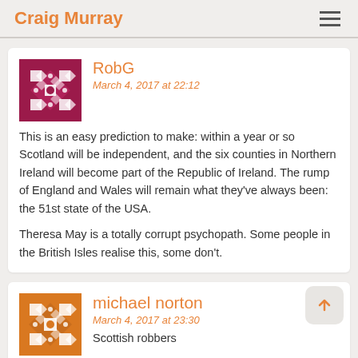Craig Murray
RobG
March 4, 2017 at 22:12
This is an easy prediction to make: within a year or so Scotland will be independent, and the six counties in Northern Ireland will become part of the Republic of Ireland. The rump of England and Wales will remain what they've always been: the 51st state of the USA.

Theresa May is a totally corrupt psychopath. Some people in the British Isles realise this, some don't.
michael norton
March 4, 2017 at 23:30
Scottish robbers